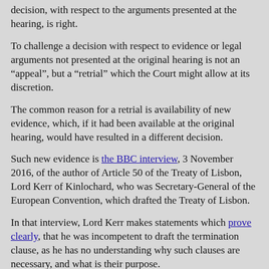decision, with respect to the arguments presented at the hearing, is right.
To challenge a decision with respect to evidence or legal arguments not presented at the original hearing is not an “appeal”, but a “retrial” which the Court might allow at its discretion.
The common reason for a retrial is availability of new evidence, which, if it had been available at the original hearing, would have resulted in a different decision.
Such new evidence is the BBC interview, 3 November 2016, of the author of Article 50 of the Treaty of Lisbon, Lord Kerr of Kinlochard, who was Secretary-General of the European Convention, which drafted the Treaty of Lisbon.
In that interview, Lord Kerr makes statements which prove clearly, that he was incompetent to draft the termination clause, as he has no understanding why such clauses are necessary, and what is their purpose.
If Article 50 is corrected by replacing the need for negotiations about the future with an agreed time to terminate the ongoing relationships as suggested by us in The Earliest Date of the UK Leaving the EU then the UK Government will be able to make submissions to the court on the basis of such change of the leave